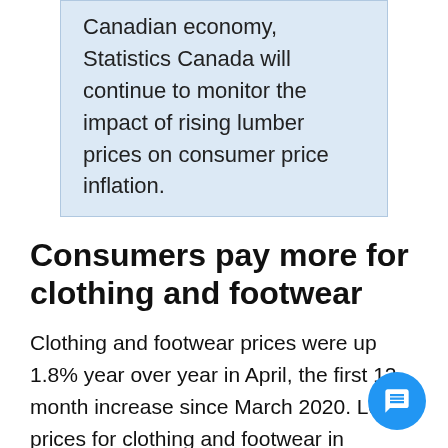Canadian economy, Statistics Canada will continue to monitor the impact of rising lumber prices on consumer price inflation.
Consumers pay more for clothing and footwear
Clothing and footwear prices were up 1.8% year over year in April, the first 12-month increase since March 2020. Lower prices for clothing and footwear in April 2020 contributed to the year-over-year rise in April 2021. This time last year, retailers nationwide had to adapt to higher inventories associated with a sudden